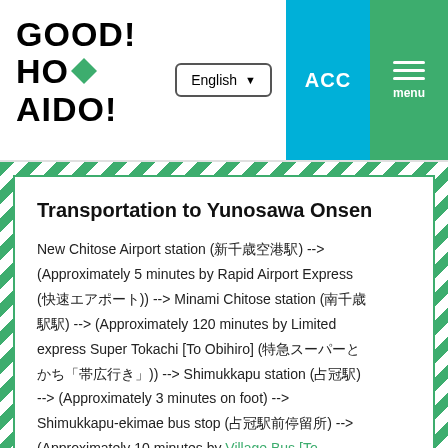GOOD! HOKKAIDO! | English | ACC | menu
Transportation to Yunosawa Onsen
New Chitose Airport station (新千歳空港駅) --> (Approximately 5 minutes by Rapid Airport Express (快速エアポート)) --> Minami Chitose station (南千歳駅駅) --> (Approximately 120 minutes by Limited express Super Tokachi [To Obihiro] (特急スーパーとかち「帯広行き」)) --> Shimukkapu station (占冠駅) --> (Approximately 3 minutes on foot) --> Shimukkapu-ekimae bus stop (占冠駅前停留所) --> (Approximately 10 minutes by Village Bus [To Furano] (村営バス「富良野行き」)) --> Yunosawa